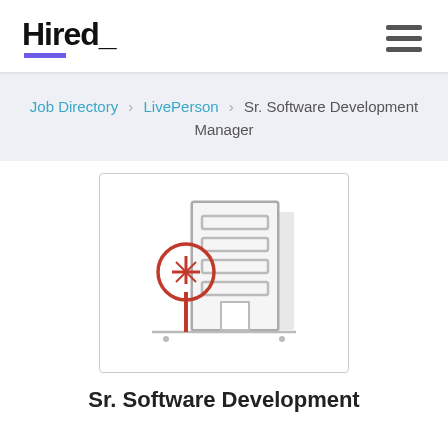[Figure (logo): Hired_ logo with purple underline accent and hamburger menu icon]
Job Directory > LivePerson > Sr. Software Development Manager
[Figure (illustration): Illustration of an office building with a red tree in front, in a minimalist line-art style]
Sr. Software Development